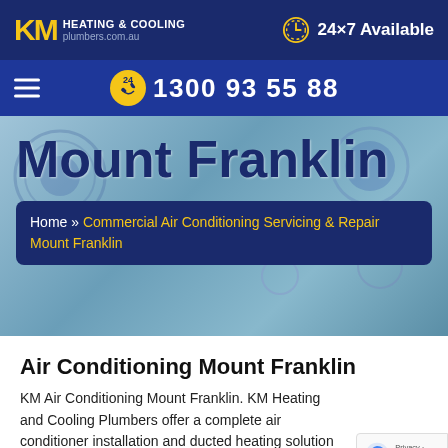KM HEATING & COOLING plumbers.com.au | 24×7 Available
1300 93 55 88
[Figure (photo): Hero background image showing HVAC equipment and hands working on air conditioning components. Overlaid with large bold text 'Mount Franklin' and a breadcrumb navigation box.]
Mount Franklin
Home » Commercial Air Conditioning Servicing & Repair Mount Franklin
Air Conditioning Mount Franklin
KM Air Conditioning Mount Franklin. KM Heating and Cooling Plumbers offer a complete air conditioner installation and ducted heating solution in Mount Franklin.